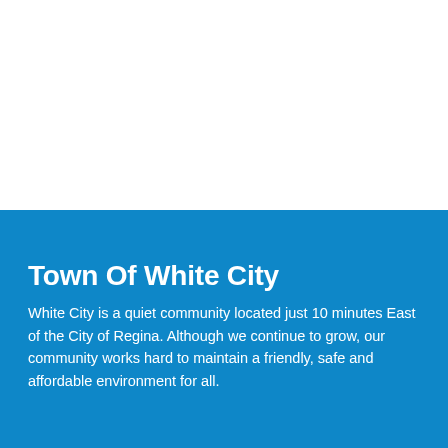Town Of White City
White City is a quiet community located just 10 minutes East of the City of Regina. Although we continue to grow, our community works hard to maintain a friendly, safe and affordable environment for all.